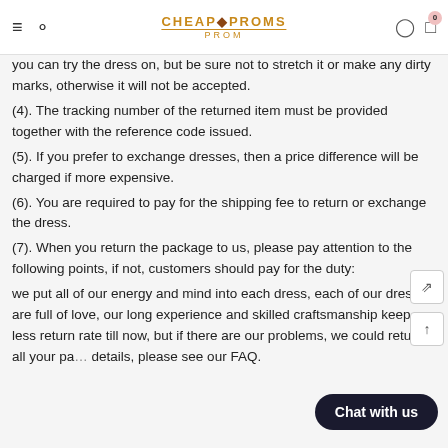CheapProms PROM
you can try the dress on, but be sure not to stretch it or make any dirty marks, otherwise it will not be accepted.
(4). The tracking number of the returned item must be provided together with the reference code issued.
(5). If you prefer to exchange dresses, then a price difference will be charged if more expensive.
(6). You are required to pay for the shipping fee to return or exchange the dress.
(7). When you return the package to us, please pay attention to the following points, if not, customers should pay for the duty:
we put all of our energy and mind into each dress, each of our dress are full of love, our long experience and skilled craftsmanship keep less return rate till now, but if there are our problems, we could return all your payment, for more details, please see our FAQ.